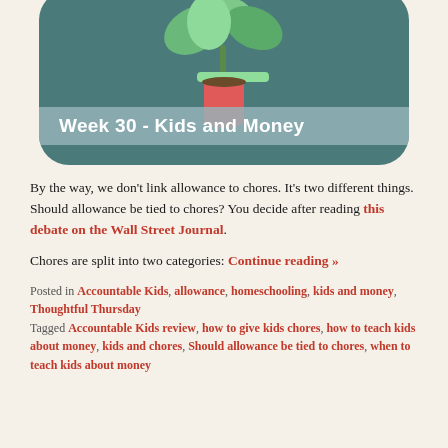[Figure (illustration): Rounded dark teal box with a plant in a red pot and banner reading 'Week 30 - Kids and Money']
By the way, we don't link allowance to chores. It's two different things. Should allowance be tied to chores? You decide after reading this debate on the Wall Street Journal.
Chores are split into two categories: Continue reading »
Posted in Accountable Kids, allowance, homeschooling, kids and money, Thoughtful Thursday
Tagged Accountable Kids review, how to give kids chores, how to teach kids about money, kids and chores, Should allowance be tied to chores, when to teach kids about money